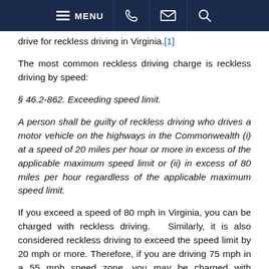MENU [phone] [email] [search]
drive for reckless driving in Virginia.[1]
The most common reckless driving charge is reckless driving by speed:
§ 46.2-862. Exceeding speed limit.
A person shall be guilty of reckless driving who drives a motor vehicle on the highways in the Commonwealth (i) at a speed of 20 miles per hour or more in excess of the applicable maximum speed limit or (ii) in excess of 80 miles per hour regardless of the applicable maximum speed limit.
If you exceed a speed of 80 mph in Virginia, you can be charged with reckless driving.  Similarly, it is also considered reckless driving to exceed the speed limit by 20 mph or more. Therefore, if you are driving 75 mph in a 55 mph speed zone, you may be charged with reckless driving by speed.
Since all reckless driving charges are class 1